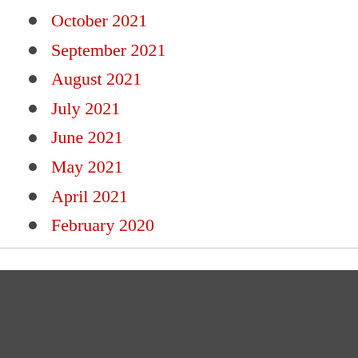October 2021
September 2021
August 2021
July 2021
June 2021
May 2021
April 2021
February 2020